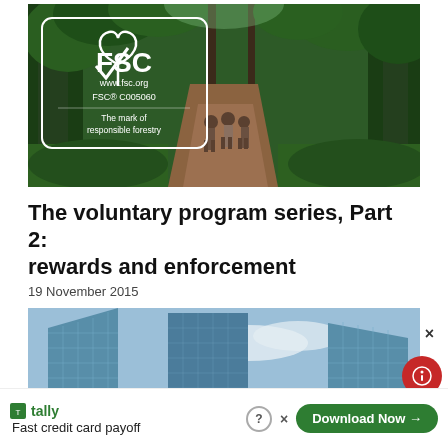[Figure (photo): Forest path with people walking, FSC certification logo overlay showing FSC, www.fsc.org, FSC® C005060, The mark of responsible forestry]
The voluntary program series, Part 2: rewards and enforcement
19 November 2015
[Figure (photo): Looking up at tall glass skyscraper buildings from below]
[Figure (other): Advertisement: Tally - Fast credit card payoff with Download Now button]